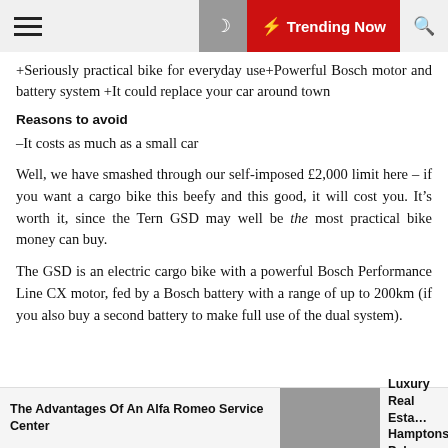≡  ☽  ⚡ Trending Now  🔍
+Seriously practical bike for everyday use+Powerful Bosch motor and battery system +It could replace your car around town
Reasons to avoid
–It costs as much as a small car
Well, we have smashed through our self-imposed £2,000 limit here – if you want a cargo bike this beefy and this good, it will cost you. It's worth it, since the Tern GSD may well be the most practical bike money can buy.
The GSD is an electric cargo bike with a powerful Bosch Performance Line CX motor, fed by a Bosch battery with a range of up to 200km (if you also buy a second battery to make full use of the dual system).
The Advantages Of An Alfa Romeo Service Center   Luxury Real Estate Hamptons, Palm